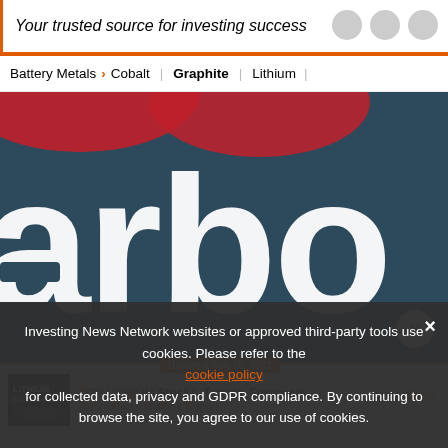Your trusted source for investing success
Battery Metals > Cobalt | Graphite | Lithium |
[Figure (logo): Partial banner image showing large white 'arbo' letters on dark teal/navy background with red decorative element — part of a 'Carbon' or similar brand logo]
Updated Aug 10, 2022 — TOP LITHIUM Stocks, Trends, Forecasts 2022 Lithium Outlook Report
Investing News Network websites or approved third-party tools use cookies. Please refer to the cookie policy for collected data, privacy and GDPR compliance. By continuing to browse the site, you agree to our use of cookies.